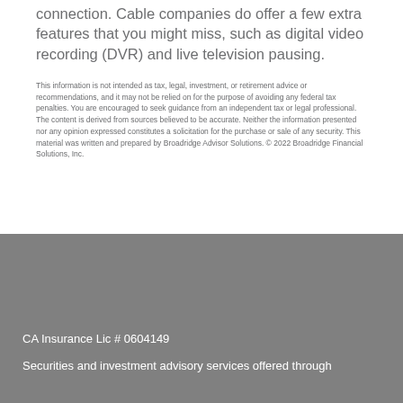connection. Cable companies do offer a few extra features that you might miss, such as digital video recording (DVR) and live television pausing.
This information is not intended as tax, legal, investment, or retirement advice or recommendations, and it may not be relied on for the purpose of avoiding any federal tax penalties. You are encouraged to seek guidance from an independent tax or legal professional. The content is derived from sources believed to be accurate. Neither the information presented nor any opinion expressed constitutes a solicitation for the purchase or sale of any security. This material was written and prepared by Broadridge Advisor Solutions. © 2022 Broadridge Financial Solutions, Inc.
CA Insurance Lic # 0604149

Securities and investment advisory services offered through